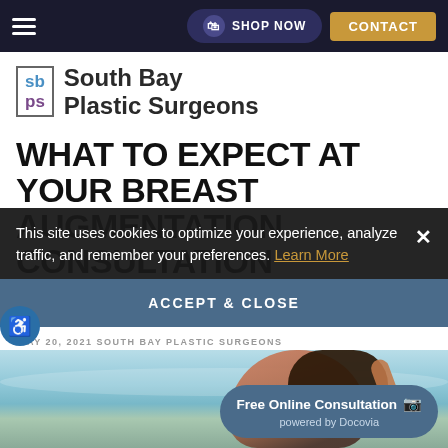≡  SHOP NOW  CONTACT
[Figure (logo): South Bay Plastic Surgeons logo with sb/ps initials in colored box]
WHAT TO EXPECT AT YOUR BREAST AUGMENTATION CONSULTATION
This site uses cookies to optimize your experience, analyze traffic, and remember your preferences. Learn More
ACCEPT & CLOSE
MAY 20, 2021 SOUTH BAY PLASTIC SURGEONS
[Figure (photo): Woman at beach in swimsuit with arms raised, teal ocean background]
Free Online Consultation 📷 powered by Docovia